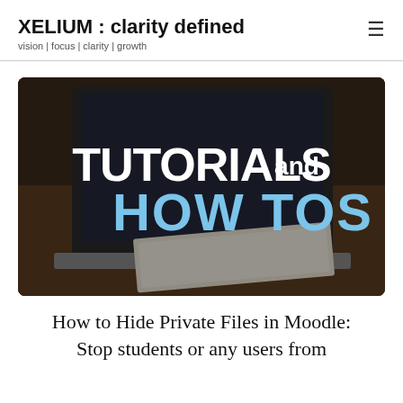XELIUM : clarity defined
vision | focus | clarity | growth
[Figure (photo): A thumbnail image with a dark background showing a laptop and notebook on a wooden desk, overlaid with large text reading 'TUTORIALs and HOW TOs' in white and blue.]
How to Hide Private Files in Moodle: Stop students or any users from